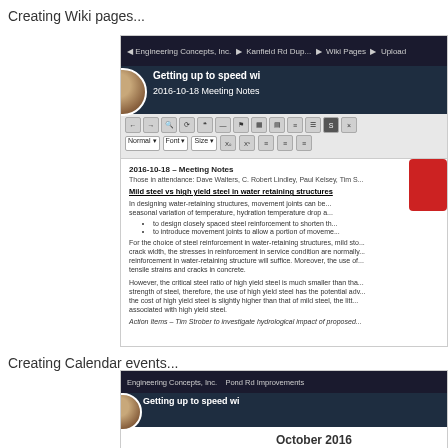Creating Wiki pages...
[Figure (screenshot): Screenshot of a wiki page editing interface showing '2016-10-18 Meeting Notes' with content about mild steel vs high yield steel in water retaining structures, overlaid with a video thumbnail showing a man's face and the text 'Getting up to speed wi...']
Creating Calendar events...
[Figure (screenshot): Screenshot of a calendar application showing October 2016 calendar view for 'Pond Rd Improvements' project, overlaid with a video thumbnail showing a man's face and the text 'Getting up to speed wi...']